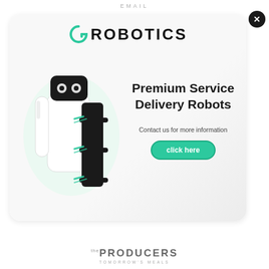EMAIL
[Figure (screenshot): Advertisement popup for G-Robotics showing a robot delivery unit, with text 'Premium Service Delivery Robots', 'Contact us for more information', and a 'click here' button. Includes a close (X) button in top right.]
[Figure (logo): The Producers - Tomorrow's Meals logo at the bottom of the page]